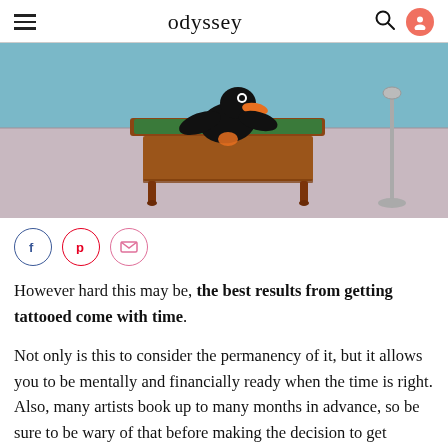odyssey
[Figure (photo): Cartoon illustration of Daffy Duck slumped over a wooden desk on what appears to be a light purple/grey floor with a blue-green wall in the background. A microphone stand is visible on the right.]
However hard this may be, the best results from getting tattooed come with time.
Not only is this to consider the permanency of it, but it allows you to be mentally and financially ready when the time is right. Also, many artists book up to many months in advance, so be sure to be wary of that before making the decision to get tattooed.